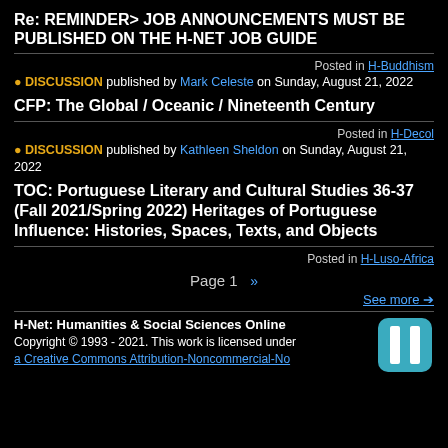Re: REMINDER> JOB ANNOUNCEMENTS MUST BE PUBLISHED ON THE H-NET JOB GUIDE
Posted in H-Buddhism
DISCUSSION published by Mark Celeste on Sunday, August 21, 2022
CFP: The Global / Oceanic / Nineteenth Century
Posted in H-Decol
DISCUSSION published by Kathleen Sheldon on Sunday, August 21, 2022
TOC: Portuguese Literary and Cultural Studies 36-37 (Fall 2021/Spring 2022) Heritages of Portuguese Influence: Histories, Spaces, Texts, and Objects
Posted in H-Luso-Africa
Page 1 »
See more
H-Net: Humanities & Social Sciences Online
Copyright © 1993 - 2021. This work is licensed under
aCreative Commons Attribution-Noncommercial-No